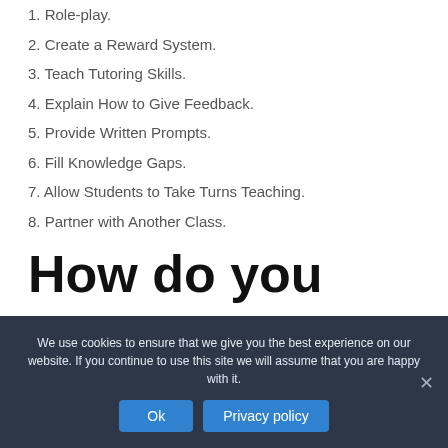1. Role-play.
2. Create a Reward System.
3. Teach Tutoring Skills.
4. Explain How to Give Feedback.
5. Provide Written Prompts.
6. Fill Knowledge Gaps.
7. Allow Students to Take Turns Teaching.
8. Partner with Another Class.
How do you
We use cookies to ensure that we give you the best experience on our website. If you continue to use this site we will assume that you are happy with it.